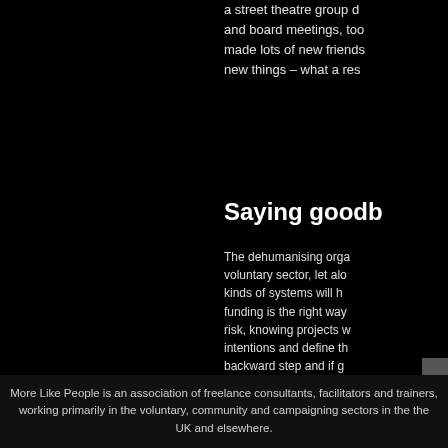a street theatre group d and board meetings, too made lots of new friends new things – what a res
Saying goodb
The dehumanising orga voluntary sector, let alo kinds of systems will h funding is the right way risk, knowing projects w intentions and define th backward step and if g should walk out, walk on
Add a comment
[Figure (illustration): Small image placeholder in the right edge]
More Like People is an association of freelance consultants, facilitators and trainers, working primarily in the voluntary, community and campaigning sectors in the the UK and elsewhere.